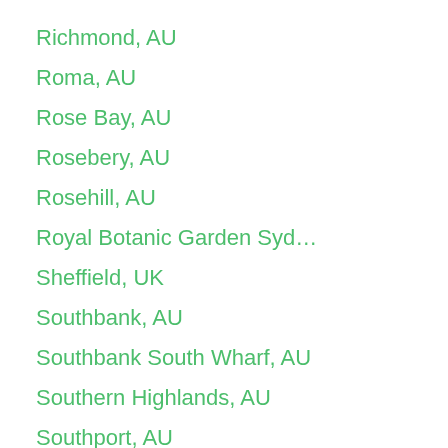Richmond, AU
Roma, AU
Rose Bay, AU
Rosebery, AU
Rosehill, AU
Royal Botanic Garden Syd…
Sheffield, UK
Southbank, AU
Southbank South Wharf, AU
Southern Highlands, AU
Southport, AU
Spring Hill, AU
Sunshine Coast, AU
Surry Hills, AU